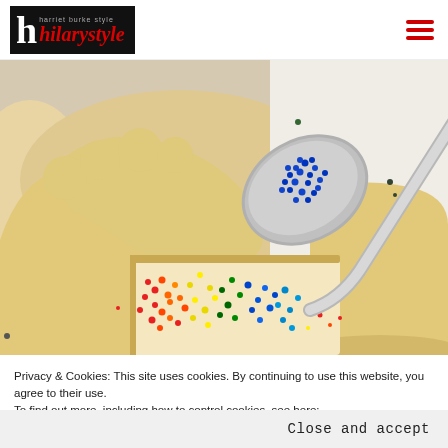hilarystyle
[Figure (photo): Close-up photo of cookie dough shaped like a rectangle/box filled with colorful sprinkles (red, orange, yellow, green, blue) and a metal spoon pouring blue sprinkles into the cookie cavity.]
Privacy & Cookies: This site uses cookies. By continuing to use this website, you agree to their use.
To find out more, including how to control cookies, see here:
Cookie Policy
Close and accept